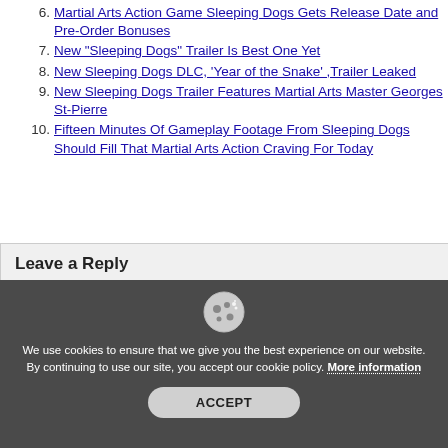6. Martial Arts Action Game Sleeping Dogs Gets Release Date and Pre-Order Bonuses
7. New "Sleeping Dogs" Trailer Is Best One Yet
8. New Sleeping Dogs DLC, 'Year of the Snake' ,Trailer Leaked
9. New Sleeping Dogs Trailer Features Martial Arts Master Georges St-Pierre
10. Fifteen Minutes Of Gameplay Footage From Sleeping Dogs Should Fill That Martial Arts Action Craving For Today
Leave a Reply
We use cookies to ensure that we give you the best experience on our website. By continuing to use our site, you accept our cookie policy. More information
ACCEPT